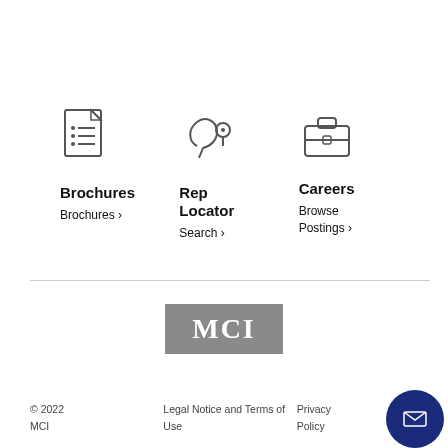[Figure (illustration): Document/brochure icon]
Brochures
Brochures >
[Figure (illustration): Head with location pin icon (Rep Locator)]
Rep Locator
Search >
[Figure (illustration): Briefcase icon (Careers)]
Careers
Browse Postings >
[Figure (logo): MCI logo — grey rectangle with white MCI text]
© 2022 MCI
Legal Notice and Terms of Use
Privacy Policy